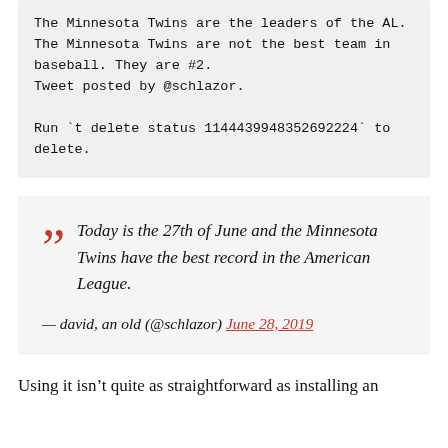The Minnesota Twins are the leaders of the AL. The Minnesota Twins are not the best team in baseball. They are #2.
Tweet posted by @schlazor.

Run `t delete status 1144439948352692224` to delete.
Today is the 27th of June and the Minnesota Twins have the best record in the American League.

— david, an old (@schlazor) June 28, 2019
Using it isn't quite as straightforward as installing an